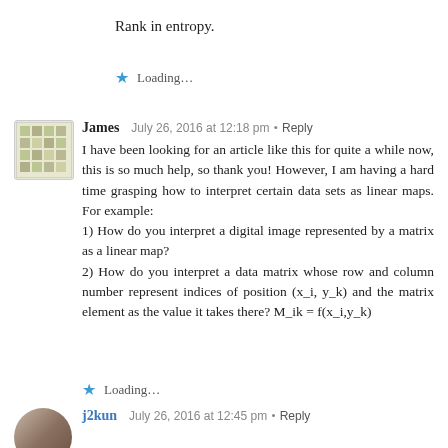Rank in entropy.
Loading...
James  July 26, 2016 at 12:18 pm • Reply
I have been looking for an article like this for quite a while now, this is so much help, so thank you! However, I am having a hard time grasping how to interpret certain data sets as linear maps. For example:
1) How do you interpret a digital image represented by a matrix as a linear map?
2) How do you interpret a data matrix whose row and column number represent indices of position (x_i, y_k) and the matrix element as the value it takes there? M_ik = f(x_i,y_k)
Loading...
j2kun  July 26, 2016 at 12:45 pm • Reply